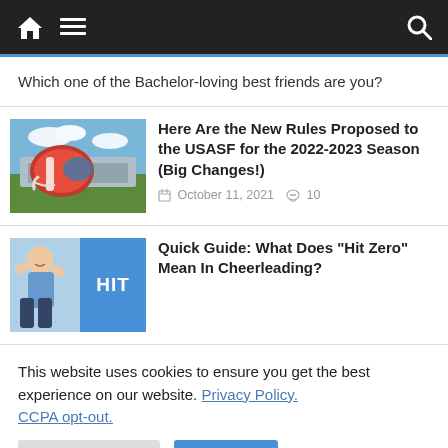Navigation bar with home icon, hamburger menu, and search icon
Which one of the Bachelor-loving best friends are you?
Here Are the New Rules Proposed to the USASF for the 2022-2023 Season (Big Changes!)
October 11, 2021  10
Quick Guide: What Does “Hit Zero” Mean In Cheerleading?
This website uses cookies to ensure you get the best experience on our website. Privacy Policy. CCPA opt-out.